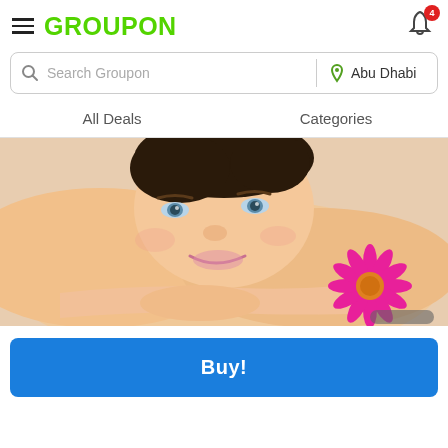GROUPON — Abu Dhabi, notification bell (4)
Search Groupon | Abu Dhabi
All Deals    Categories
[Figure (photo): Woman lying on a massage table, smiling, with a pink gerbera flower beside her hands — spa/wellness promotional image.]
Buy!